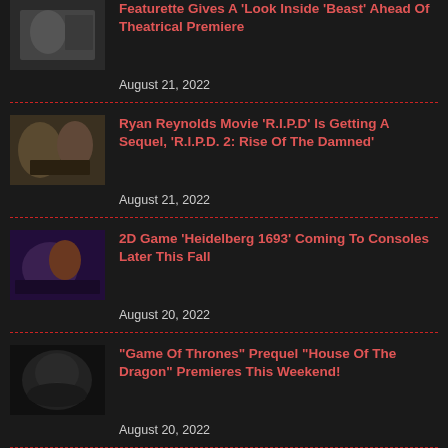Featurette Gives A 'Look Inside' 'Beast' Ahead Of Theatrical Premiere
August 21, 2022
Ryan Reynolds Movie 'R.I.P.D' Is Getting A Sequel, 'R.I.P.D. 2: Rise Of The Damned'
August 21, 2022
2D Game 'Heidelberg 1693' Coming To Consoles Later This Fall
August 20, 2022
“Game Of Thrones” Prequel “House Of The Dragon” Premieres This Weekend!
August 20, 2022
A ‘Maneater’ Is Swimming Your Way This Week (Trailer)